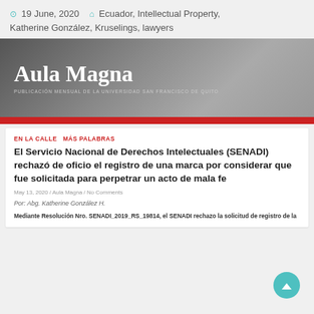19 June, 2020   Ecuador, Intellectual Property, Katherine González, Kruselings, lawyers
[Figure (logo): Aula Magna publication banner with dark gradient background, white serif title 'Aula Magna', subtitle text 'PUBLICACIÓN MENSUAL DE LA UNIVERSIDAD SAN FRANCISCO DE QUITO', and a red bar at the bottom]
EN LA CALLE  MÁS PALABRAS
El Servicio Nacional de Derechos Intelectuales (SENADI) rechazó de oficio el registro de una marca por considerar que fue solicitada para perpetrar un acto de mala fe
May 13, 2020 / Aula Magna / No Comments
Por: Abg. Katherine González H.
Mediante Resolución Nro. SENADI_2019_RS_19814, el SENADI rechazo la solicitud de registro de la